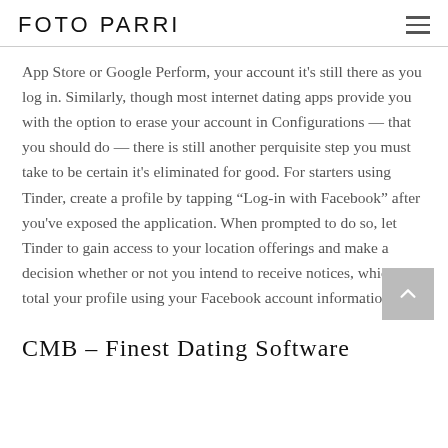FOTO PARRI
App Store or Google Perform, your account it's still there as you log in. Similarly, though most internet dating apps provide you with the option to erase your account in Configurations — that you should do — there is still another perquisite step you must take to be certain it's eliminated for good. For starters using Tinder, create a profile by tapping “Log-in with Facebook” after you've exposed the application. When prompted to do so, let Tinder to gain access to your location offerings and make a decision whether or not you intend to receive notices, which will total your profile using your Facebook account information.
CMB – Finest Dating Software